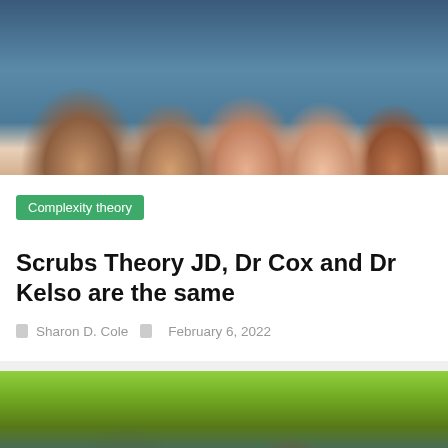[Figure (photo): Group photo of Scrubs TV show cast members smiling, in hospital attire]
Complexity theory
Scrubs Theory JD, Dr Cox and Dr Kelso are the same
Sharon D. Cole   February 6, 2022
[Figure (photo): Two men from The Big Bang Theory TV show, one in a red t-shirt pointing and one in a grey sweater]